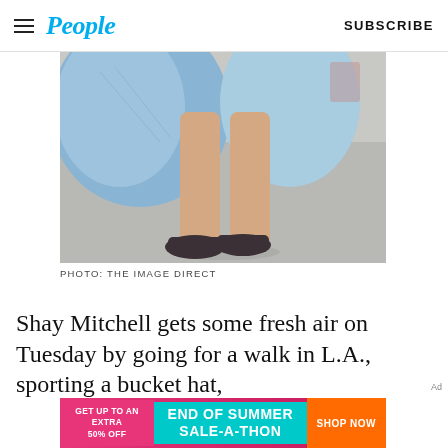People — SUBSCRIBE
[Figure (photo): Cropped photo from below the waist showing a person walking on a street, wearing black sandals and a light denim jacket/shirt blowing in the wind, legs visible]
PHOTO: THE IMAGE DIRECT
Shay Mitchell gets some fresh air on Tuesday by going for a walk in L.A., sporting a bucket hat,
[Figure (infographic): End of Summer Sale-A-Thon banner ad: GET UP TO AN EXTRA 50% OFF | END OF SUMMER SALE-A-THON | SHOP NOW]